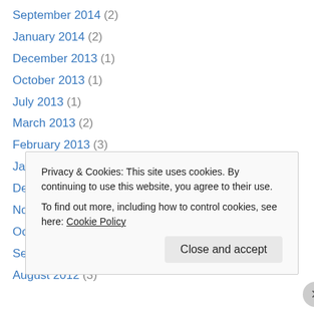September 2014 (2)
January 2014 (2)
December 2013 (1)
October 2013 (1)
July 2013 (1)
March 2013 (2)
February 2013 (3)
January 2013 (5)
December 2012 (3)
November 2012 (5)
October 2012 (4)
September 2012 (1)
August 2012 (3)
Privacy & Cookies: This site uses cookies. By continuing to use this website, you agree to their use. To find out more, including how to control cookies, see here: Cookie Policy